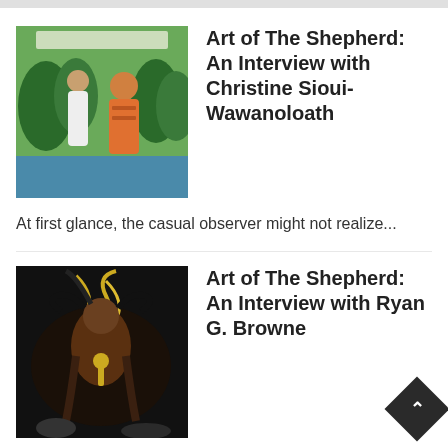[Figure (illustration): Comic book cover thumbnail showing two Native American figures (a woman in white and a man in orange/red) standing by a river with green forest background.]
Art of The Shepherd: An Interview with Christine Sioui-Wawanoloath
At first glance, the casual observer might not realize...
[Figure (illustration): Comic book cover thumbnail showing a dark fantasy scene with a muscular figure in dramatic pose, dark hair swirling, with dark and golden tones.]
Art of The Shepherd: An Interview with Ryan G. Browne
One of the fun aspects of having a book coming out with Scout Comics is that Scout offers local comic book shops the opportunity to do exclusive variant covers